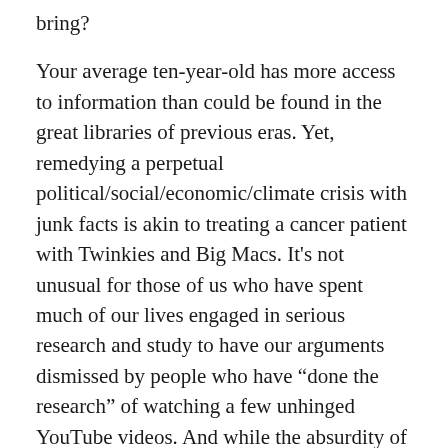bring?
Your average ten-year-old has more access to information than could be found in the great libraries of previous eras. Yet, remedying a perpetual political/social/economic/climate crisis with junk facts is akin to treating a cancer patient with Twinkies and Big Macs. It’s not unusual for those of us who have spent much of our lives engaged in serious research and study to have our arguments dismissed by people who have “done the research” of watching a few unhinged YouTube videos. And while the absurdity of these types is stultifying, such people are no worse than political party hacks, or any others who uphold any of myriad ideologies, whether of the ossified Leninist cult